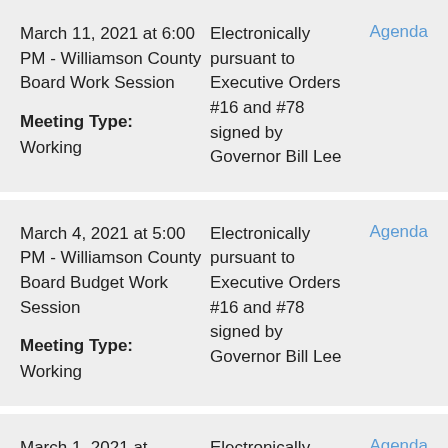March 11, 2021 at 6:00 PM - Williamson County Board Work Session
Meeting Type: Working
Electronically pursuant to Executive Orders #16 and #78 signed by Governor Bill Lee
Agenda
March 4, 2021 at 5:00 PM - Williamson County Board Budget Work Session
Meeting Type: Working
Electronically pursuant to Executive Orders #16 and #78 signed by Governor Bill Lee
Agenda
March 1, 2021 at ...